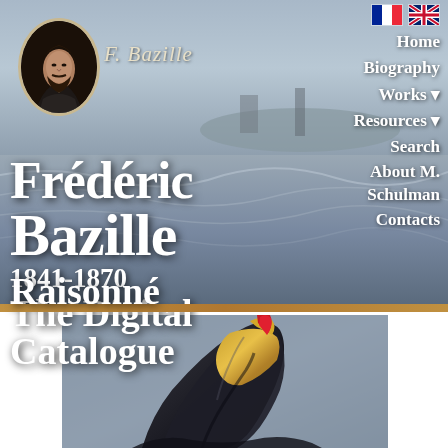[Figure (illustration): Oval portrait of Frédéric Bazille with beard, in dark clothing, against dark background]
F. Bazille
[Figure (illustration): Coastal seascape painting background showing grey-blue sea, shoreline with buildings in distance, and a boat on the water]
Frédéric Bazille 1841-1870 The Digital Catalogue Raisonné
Home
Biography
Works ▾
Resources ▾
Search
About M. Schulman
Contacts
[Figure (illustration): Close-up painting of a Roman/Greek warrior helmet in dark tones with gold ornament and red plume, on a grey background]